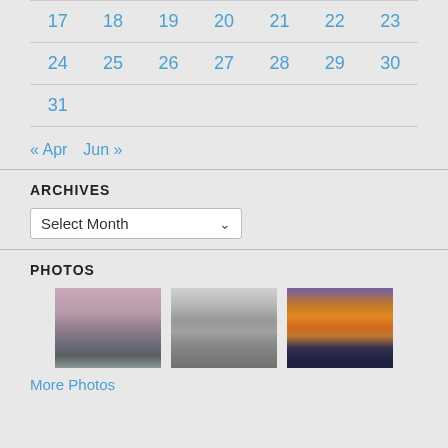| 17 | 18 | 19 | 20 | 21 | 22 | 23 |
| 24 | 25 | 26 | 27 | 28 | 29 | 30 |
| 31 |  |  |  |  |  |  |
« Apr   Jun »
ARCHIVES
Select Month
PHOTOS
[Figure (photo): Winter landscape with frozen pond and bare trees, pinkish sky]
[Figure (photo): Black and white photo of snow-covered tree branches]
[Figure (photo): Colorful sunset with orange and purple clouds over mountains]
More Photos